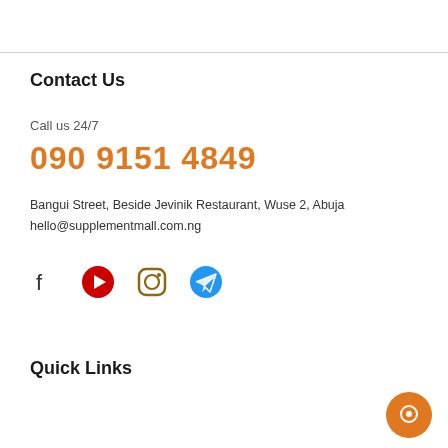Contact Us
Call us 24/7
090 9151 4849
Bangui Street, Beside Jevinik Restaurant, Wuse 2, Abuja
hello@supplementmall.com.ng
[Figure (infographic): Social media icons: Facebook, YouTube, Instagram, Telegram]
Quick Links
[Figure (other): Chat bubble icon (orange circle with chat icon) in bottom right corner]